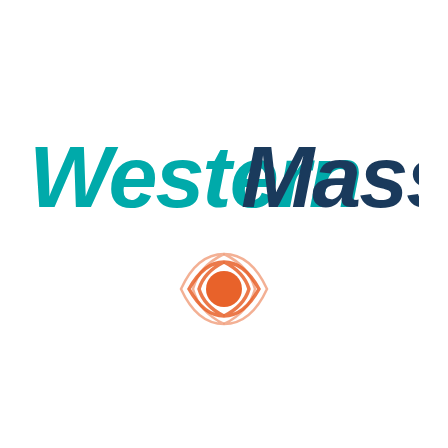[Figure (logo): Western Mass logo: the word 'Western' in teal/cyan bold italic font and 'Mass' in dark navy bold italic font, followed below by a CBS eye-like orange circle with orange arc lines on either side forming a stylized eye or signal icon]